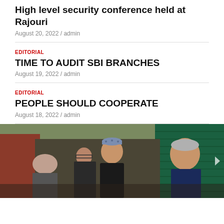High level security conference held at Rajouri
August 20, 2022 / admin
EDITORIAL
TIME TO AUDIT SBI BRANCHES
August 19, 2022 / admin
EDITORIAL
PEOPLE SHOULD COOPERATE
August 18, 2022 / admin
[Figure (photo): Group of people including politicians outdoors, one wearing a traditional Kashmiri cap, green shutters in background]